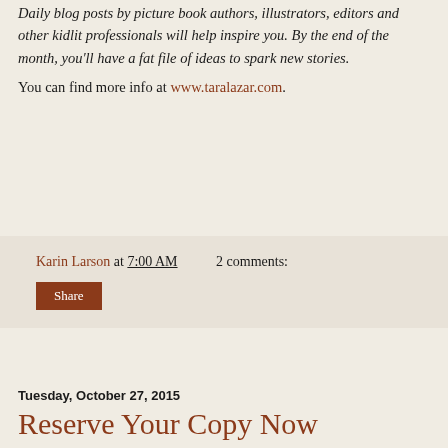Daily blog posts by picture book authors, illustrators, editors and other kidlit professionals will help inspire you. By the end of the month, you'll have a fat file of ideas to spark new stories.
You can find more info at www.taralazar.com.
Karin Larson at 7:00 AM   2 comments:
Share
Tuesday, October 27, 2015
Reserve Your Copy Now
Dee and Deb Off They Go: Kindergarten First Day Jitters Review
by Donna M. McDine